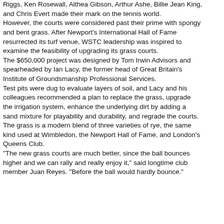Riggs, Ken Rosewall, Althea Gibson, Arthur Ashe, Billie Jean King, and Chris Evert made their mark on the tennis world. However, the courts were considered past their prime with spongy and bent grass. After Newport's International Hall of Fame resurrected its turf venue, WSTC leadership was inspired to examine the feasibility of upgrading its grass courts. The $650,000 project was designed by Tom Irwin Advisors and spearheaded by Ian Lacy, the former head of Great Britain's Institute of Groundsmanship Professional Services. Test pits were dug to evaluate layers of soil, and Lacy and his colleagues recommended a plan to replace the grass, upgrade the irrigation system, enhance the underlying dirt by adding a sand mixture for playability and durability, and regrade the courts. The grass is a modern blend of three varieties of rye, the same kind used at Wimbledon, the Newport Hall of Fame, and London's Queens Club. "The new grass courts are much better, since the ball bounces higher and we can rally and really enjoy it," said longtime club member Juan Reyes. "Before the ball would hardly bounce."